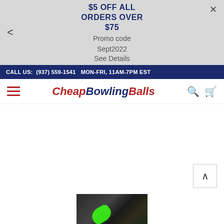$5 OFF ALL ORDERS OVER $75
Promo code Sept2022
See Details
CALL US: (937) 559-1541  MON-FRI, 11AM-7PM EST
CheapBowlingBalls
[Figure (photo): Partial view of a dark bowling ball with a green streak/design element, shown at the bottom of the page.]